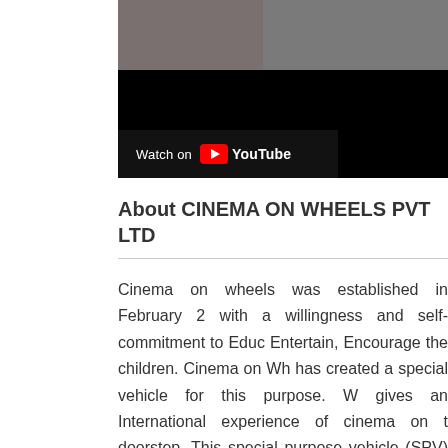[Figure (screenshot): YouTube video player showing a partially visible video thumbnail with dark/black areas and a 'Watch on YouTube' overlay bar at the bottom left.]
About CINEMA ON WHEELS PVT LTD
Cinema on wheels was established in February 2 with a willingness and self-commitment to Educ Entertain, Encourage the children. Cinema on Wh has created a special vehicle for this purpose. W gives an International experience of cinema on t doorstep. This special purpose vehicle (SPV) has